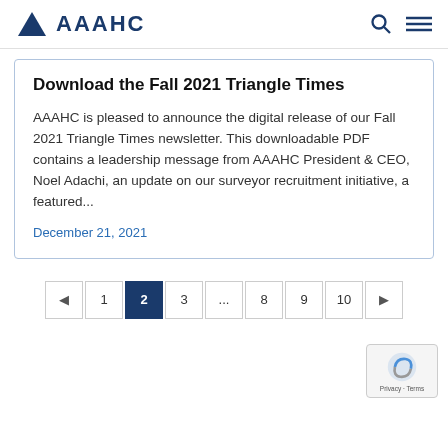AAAHC
Download the Fall 2021 Triangle Times
AAAHC is pleased to announce the digital release of our Fall 2021 Triangle Times newsletter. This downloadable PDF contains a leadership message from AAAHC President & CEO, Noel Adachi, an update on our surveyor recruitment initiative, a featured...
December 21, 2021
◄  1  2  3  ...  8  9  10  ►